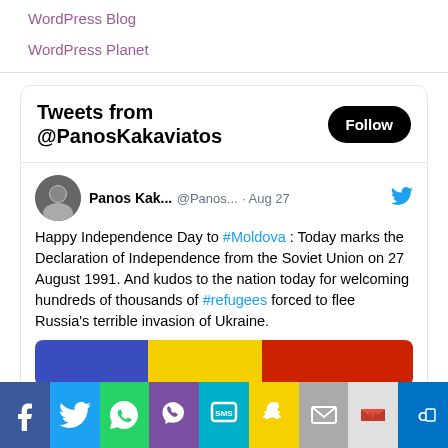WordPress Blog
WordPress Planet
[Figure (screenshot): Twitter widget showing tweets from @PanosKakaviatos with a Follow button. Tweet by Panos Kak... @Panos... Aug 27: Happy Independence Day to #Moldova : Today marks the Declaration of Independence from the Soviet Union on 27 August 1991. And kudos to the nation today for welcoming hundreds of thousands of #refugees forced to flee Russia's terrible invasion of Ukraine. Followed by a partial image of a flag (Moldova colors: blue, yellow, red).]
[Figure (infographic): Bottom navigation/share bar with icons: Facebook (blue), Twitter (blue), WhatsApp (green), Viber (purple), SMS (teal), Snapchat (yellow), Email (grey), Gmail (light grey with M), Outlook (dark blue with O).]